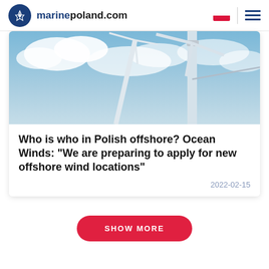marinepoland.com
[Figure (photo): Offshore wind turbines against a blue sky with clouds]
Who is who in Polish offshore? Ocean Winds: "We are preparing to apply for new offshore wind locations"
2022-02-15
SHOW MORE